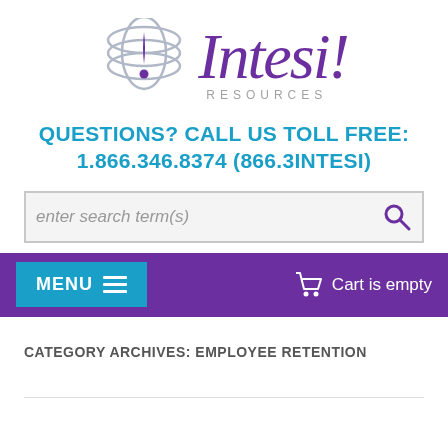[Figure (logo): Intesi! Resources logo with globe graphic and stylized italic text]
QUESTIONS? CALL US TOLL FREE:
1.866.346.8374 (866.3INTESI)
[Figure (other): Search bar with placeholder text 'enter search term(s)' and purple magnifying glass icon]
[Figure (other): Navigation bar with cyan MENU button and cart icon showing 'Cart is empty']
CATEGORY ARCHIVES: EMPLOYEE RETENTION